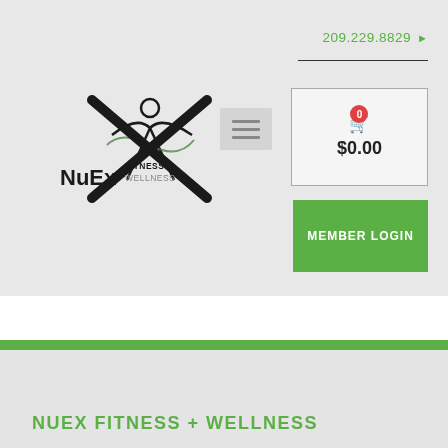209.229.8829 ▶
[Figure (logo): NuEx Fitness + Wellness logo with stylized figure and text]
[Figure (screenshot): Hamburger menu icon with three horizontal lines]
[Figure (screenshot): Shopping cart box showing badge 0 and $0.00]
[Figure (screenshot): Green Member Login button]
NUEX FITNESS + WELLNESS